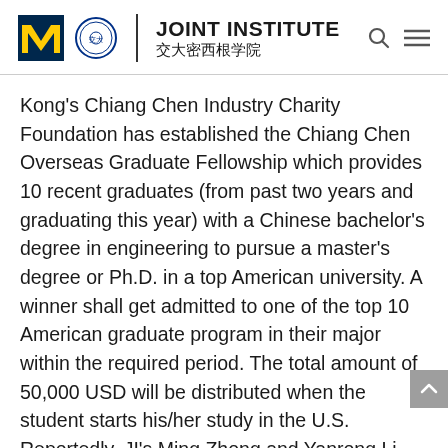JOINT INSTITUTE 交大密西根学院
Kong's Chiang Chen Industry Charity Foundation has established the Chiang Chen Overseas Graduate Fellowship which provides 10 recent graduates (from past two years and graduating this year) with a Chinese bachelor's degree in engineering to pursue a master's degree or Ph.D. in a top American university. A winner shall get admitted to one of the top 10 American graduate program in their major within the required period. The total amount of 50,000 USD will be distributed when the student starts his/her study in the U.S. Reportedly, JI's Ming Zhong and Yanrong Li have been admitted to Cornell University and U.C. Berkeley respectively, thereby fulfilling the scholarship's requirement.